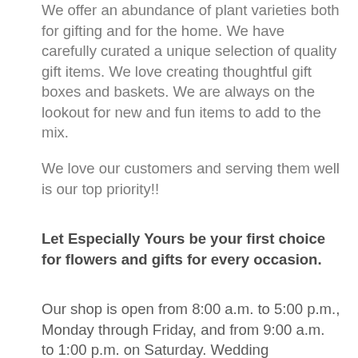We offer an abundance of plant varieties both for gifting and for the home. We have carefully curated a unique selection of quality gift items. We love creating thoughtful gift boxes and baskets. We are always on the lookout for new and fun items to add to the mix.
We love our customers and serving them well is our top priority!!
Let Especially Yours be your first choice for flowers and gifts for every occasion.
Our shop is open from 8:00 a.m. to 5:00 p.m., Monday through Friday, and from 9:00 a.m. to 1:00 p.m. on Saturday. Wedding consultations can be arranged after hours to accommodate brides when necessary.
We are closed on Sundays, but will deliver to funeral services.
To help assure on-time delivery during the busy holiday